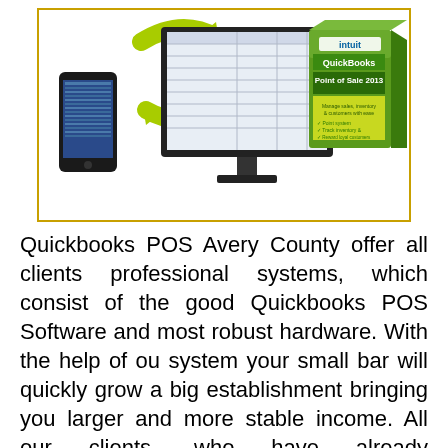[Figure (illustration): Product illustration showing a smartphone on the left with green circular sync arrows overlapping, a desktop computer monitor in the center displaying a spreadsheet/software interface, and a QuickBooks Point of Sale 2013 software box (Intuit branded, green and yellow) on the right. All set against a white background inside a gold/yellow border box.]
Quickbooks POS Avery County offer all clients professional systems, which consist of the good Quickbooks POS Software and most robust hardware. With the help of ou system your small bar will quickly grow a big establishment bringing you larger and more stable income. All our clients, who have already experienced the quality of